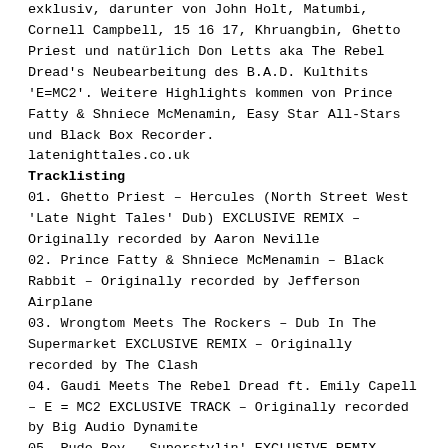exklusiv, darunter von John Holt, Matumbi, Cornell Campbell, 15 16 17, Khruangbin, Ghetto Priest und natürlich Don Letts aka The Rebel Dread's Neubearbeitung des B.A.D. Kulthits 'E=MC2'. Weitere Highlights kommen von Prince Fatty & Shniece McMenamin, Easy Star All-Stars und Black Box Recorder.
latenighttales.co.uk
Tracklisting
01. Ghetto Priest – Hercules (North Street West 'Late Night Tales' Dub) EXCLUSIVE REMIX – Originally recorded by Aaron Neville
02. Prince Fatty & Shniece McMenamin – Black Rabbit – Originally recorded by Jefferson Airplane
03. Wrongtom Meets The Rockers – Dub In The Supermarket EXCLUSIVE REMIX – Originally recorded by The Clash
04. Gaudi Meets The Rebel Dread ft. Emily Capell – E = MC2 EXCLUSIVE TRACK – Originally recorded by Big Audio Dynamite
05. Rude Boy – Superstylin' EXCLUSIVE REMIX – Originally